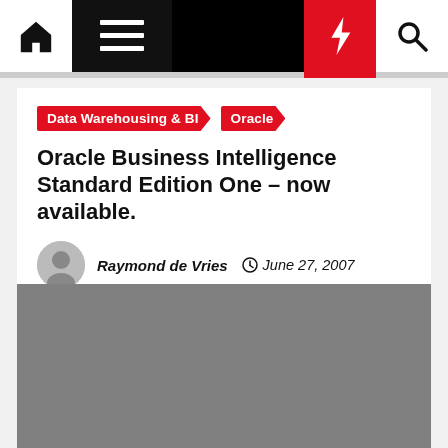Navigation bar with home, menu, lightning, and search icons
Data Warehousing & BI  Oracle
Oracle Business Intelligence Standard Edition One – now available.
Raymond de Vries  June 27, 2007
[Figure (photo): Gray image placeholder below the article header]